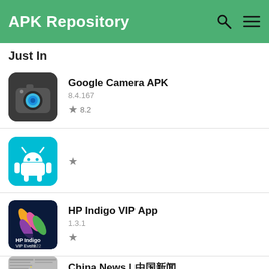APK Repository
Just In
Google Camera APK
8.4.167
★ 8.2
★
HP Indigo VIP App
1.3.1
★
China News | 中国新闻
8.1
★